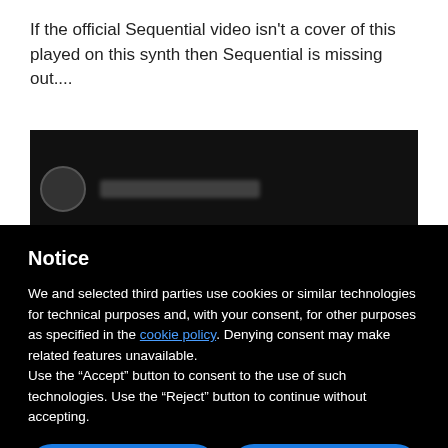If the official Sequential video isn't a cover of this played on this synth then Sequential is missing out....
[Figure (screenshot): Dark background video thumbnail with avatar and blurred channel name text]
Notice
We and selected third parties use cookies or similar technologies for technical purposes and, with your consent, for other purposes as specified in the cookie policy. Denying consent may make related features unavailable.
Use the “Accept” button to consent to the use of such technologies. Use the “Reject” button to continue without accepting.
Reject
Accept
Learn more and customize